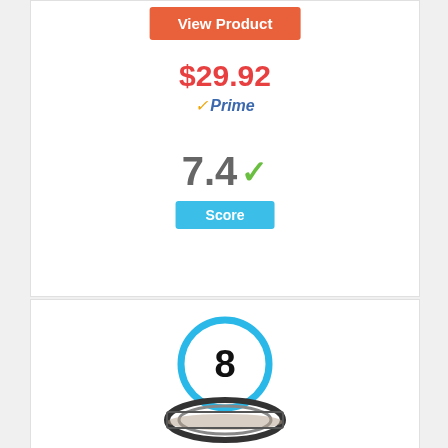[Figure (screenshot): Orange 'View Product' button]
$29.92
[Figure (logo): Amazon Prime checkmark and 'Prime' text badge]
7.4 ✓
Score
[Figure (infographic): Blue circle with number 8 inside, representing a ranking badge]
[Figure (photo): Partial photo of a camera lens filter ring at the bottom of the page]